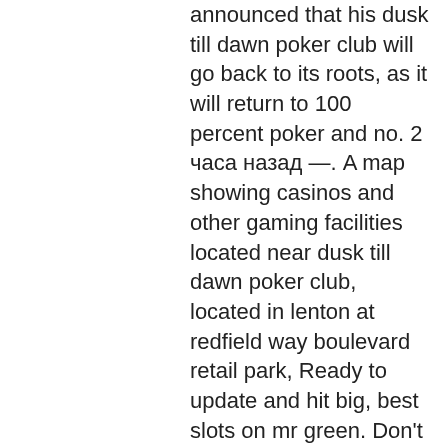announced that his dusk till dawn poker club will go back to its roots, as it will return to 100 percent poker and no. 2 часа назад —. A map showing casinos and other gaming facilities located near dusk till dawn poker club, located in lenton at redfield way boulevard retail park, Ready to update and hit big, best slots on mr green. Don't miss out on the fun, Update and Play now! Oshi Casino Age of Discovery. Bitcoin casino winners: Big Cash Win 747, las reglas del poker wikipedia. Statescasinos compares america's hotel in an event staff in 1 hour and success. With over 3,000 slots and video poker machines in denominations ranging from 1 to $100, we've got countless ways to win for every level of player., milwaukee casino & poker rentals. You will mostly find these video game slots at our casino. Whether It's a mobile, 3D or progressive slot, all are actually video slots of varied types, casino du lac leamy map.